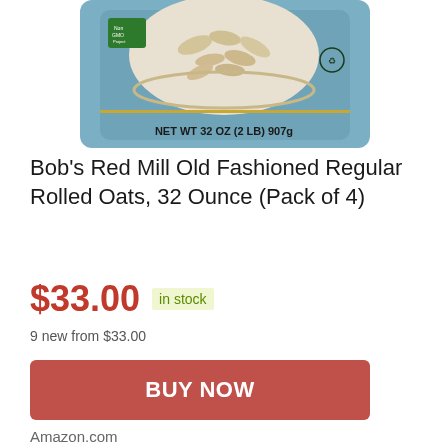[Figure (photo): Bob's Red Mill Old Fashioned Rolled Oats product bag, blue packaging with oats in a bowl visible, NET WT 32 OZ (2 LB) 907g label, partially cropped at top]
Bob's Red Mill Old Fashioned Regular Rolled Oats, 32 Ounce (Pack of 4)
$33.00  in stock
9 new from $33.00
BUY NOW
Amazon.com
as of August 20, 2022 12:02 pm ℹ
Feature